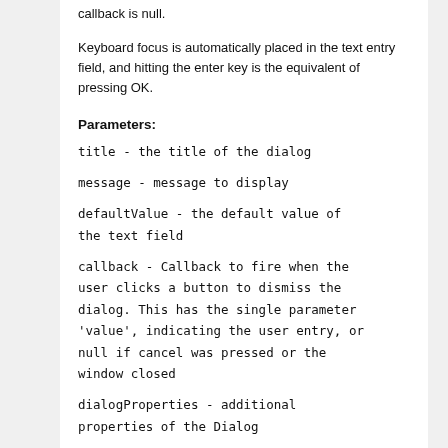callback is null.
Keyboard focus is automatically placed in the text entry field, and hitting the enter key is the equivalent of pressing OK.
Parameters:
title - the title of the dialog
message - message to display
defaultValue - the default value of the text field
callback - Callback to fire when the user clicks a button to dismiss the dialog. This has the single parameter 'value', indicating the user entry, or null if cancel was pressed or the window closed
dialogProperties - additional properties of the Dialog